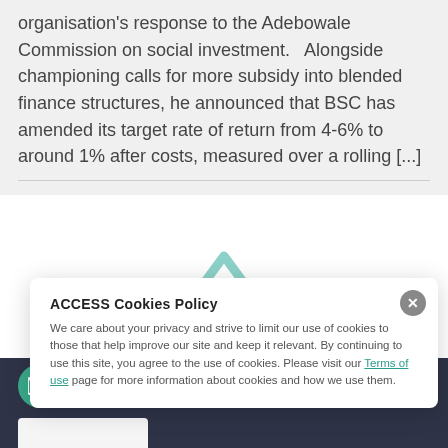organisation's response to the Adebowale Commission on social investment.   Alongside championing calls for more subsidy into blended finance structures, he announced that BSC has amended its target rate of return from 4-6% to around 1% after costs, measured over a rolling [...]
ACCESS Cookies Policy
We care about your privacy and strive to limit our use of cookies to those that help improve our site and keep it relevant. By continuing to use this site, you agree to the use of cookies. Please visit our Terms of use page for more information about cookies and how we use them.